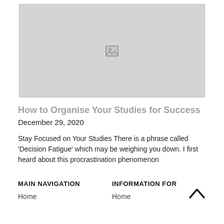[Figure (photo): Placeholder image with broken image icon]
How to Organise Your Studies for Success
December 29, 2020
Stay Focused on Your Studies There is a phrase called ‘Decision Fatigue’ which may be weighing you down. I first heard about this procrastination phenomenon
MAIN NAVIGATION
Home
INFORMATION FOR
Home